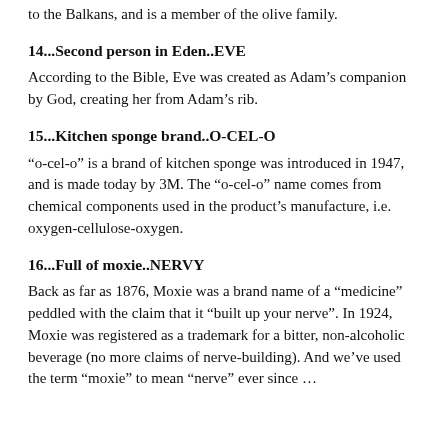to the Balkans, and is a member of the olive family.
14...Second person in Eden..EVE
According to the Bible, Eve was created as Adam’s companion by God, creating her from Adam’s rib.
15...Kitchen sponge brand..O-CEL-O
“o-cel-o” is a brand of kitchen sponge was introduced in 1947, and is made today by 3M. The “o-cel-o” name comes from chemical components used in the product’s manufacture, i.e. oxygen-cellulose-oxygen.
16...Full of moxie..NERVY
Back as far as 1876, Moxie was a brand name of a “medicine” peddled with the claim that it “built up your nerve”. In 1924, Moxie was registered as a trademark for a bitter, non-alcoholic beverage (no more claims of nerve-building). And we’ve used the term “moxie” to mean “nerve” ever since …